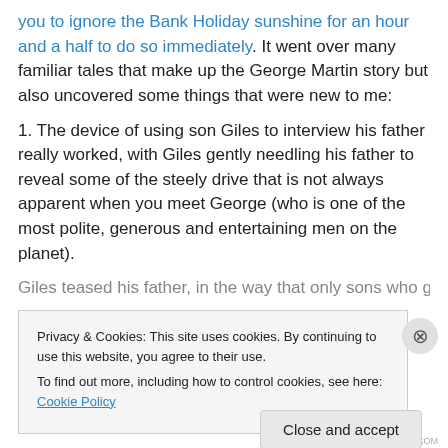you to ignore the Bank Holiday sunshine for an hour and a half to do so immediately. It went over many familiar tales that make up the George Martin story but also uncovered some things that were new to me:
1. The device of using son Giles to interview his father really worked, with Giles gently needling his father to reveal some of the steely drive that is not always apparent when you meet George (who is one of the most polite, generous and entertaining men on the planet).
Giles teased his father, in the way that only sons who get...
Privacy & Cookies: This site uses cookies. By continuing to use this website, you agree to their use.
To find out more, including how to control cookies, see here: Cookie Policy
Close and accept